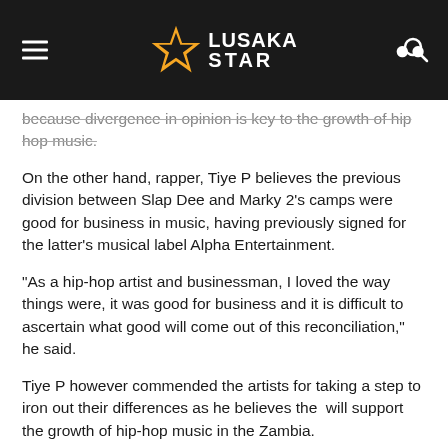Lusaka Star
because divergence in opinion is key to the growth of hip hop music.
On the other hand, rapper, Tiye P believes the previous division between Slap Dee and Marky 2's camps were good for business in music, having previously signed for the latter's musical label Alpha Entertainment.
“As a hip-hop artist and businessman, I loved the way things were, it was good for business and it is difficult to ascertain what good will come out of this reconciliation,” he said.
Tiye P however commended the artists for taking a step to iron out their differences as he believes the  will support the growth of hip-hop music in the Zambia.